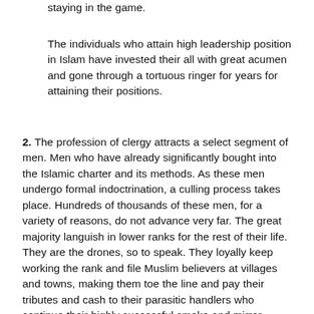staying in the game.
The individuals who attain high leadership position in Islam have invested their all with great acumen and gone through a tortuous ringer for years for attaining their positions.
2. The profession of clergy attracts a select segment of men. Men who have already significantly bought into the Islamic charter and its methods. As these men undergo formal indoctrination, a culling process takes place. Hundreds of thousands of these men, for a variety of reasons, do not advance very far. The great majority languish in lower ranks for the rest of their life. They are the drones, so to speak. They loyally keep working the rank and file Muslim believers at villages and towns, making them toe the line and pay their tributes and cash to their parasitic handlers who continue their highly successful smoke and mirror charade.